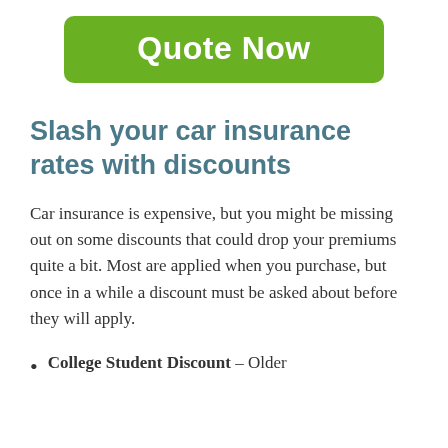[Figure (other): Green button with white bold text 'Quote Now']
Slash your car insurance rates with discounts
Car insurance is expensive, but you might be missing out on some discounts that could drop your premiums quite a bit. Most are applied when you purchase, but once in a while a discount must be asked about before they will apply.
College Student Discount – Older